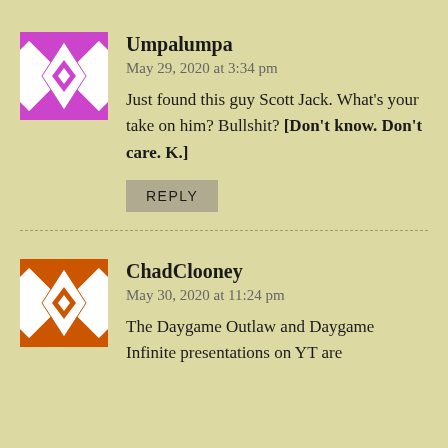[Figure (illustration): Purple geometric quilt-pattern avatar for user Umpalumpa]
Umpalumpa
May 29, 2020 at 3:34 pm
Just found this guy Scott Jack. What's your take on him? Bullshit? [Don't know. Don't care. K.]
REPLY
[Figure (illustration): Orange geometric quilt-pattern avatar for user ChadClooney]
ChadClooney
May 30, 2020 at 11:24 pm
The Daygame Outlaw and Daygame Infinite presentations on YT are